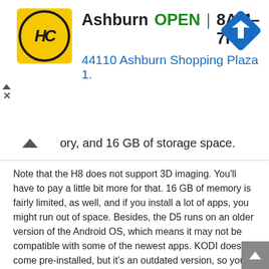[Figure (infographic): Advertisement banner for HC auto service in Ashburn. Shows HC yellow circular logo, business name 'Ashburn', 'OPEN' in green, hours '8AM–7PM', address '44110 Ashburn Shopping Plaza 1.' in blue, and a blue navigation diamond icon on the right.]
ory, and 16 GB of storage space.
Note that the H8 does not support 3D imaging. You'll have to pay a little bit more for that. 16 GB of memory is fairly limited, as well, and if you install a lot of apps, you might run out of space. Besides, the D5 runs on an older version of the Android OS, which means it may not be compatible with some of the newest apps. KODI does come pre-installed, but it's an outdated version, so you might want to uninstall it to get access to the latest software.
The H96 mini H8 will never compete with a Fire Stick or a high-end Android TV box. But if you are new to TV boxes, have a limited budget, and aren't interested in watching 3D movies, this TV box won't set your wallet back very far.